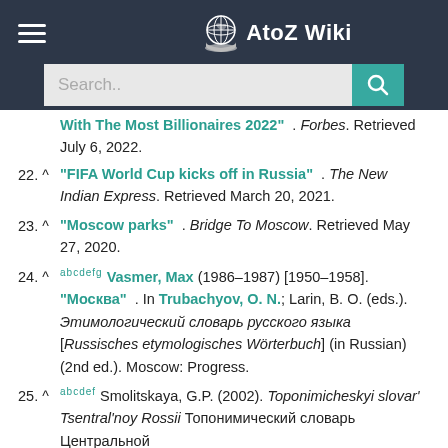AtoZ Wiki
22. ^ "FIFA World Cup kicks off in Russia" . The New Indian Express. Retrieved March 20, 2021.
23. ^ "Moscow parks" . Bridge To Moscow. Retrieved May 27, 2020.
24. ^ a b c d e f g Vasmer, Max (1986–1987) [1950–1958]. "Москва" . In Trubachyov, O. N.; Larin, B. O. (eds.). Этимологический словарь русского языка [Russisches etymologisches Wörterbuch] (in Russian) (2nd ed.). Moscow: Progress.
25. ^ a b c d e f Smolitskaya, G.P. (2002). Toponimicheskyi slovar' Tsentral'noy Rossii Топонимический словарь Центральной